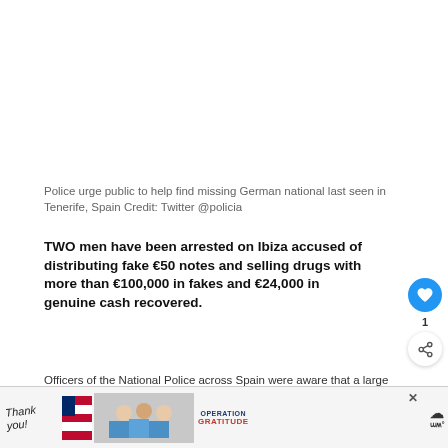Police urge public to help find missing German national last seen in Tenerife, Spain Credit: Twitter @policia
TWO men have been arrested on Ibiza accused of distributing fake €50 notes and selling drugs with more than €100,000 in fakes and €24,000 in genuine cash recovered.
Officers of the National Police across Spain were aware that a large number of fake €50 notes were being put in
[Figure (illustration): Advertisement banner at bottom of page showing 'Thank you!' text with American flag imagery and Operation Gratitude branding, with an X close button and weather icon on right]